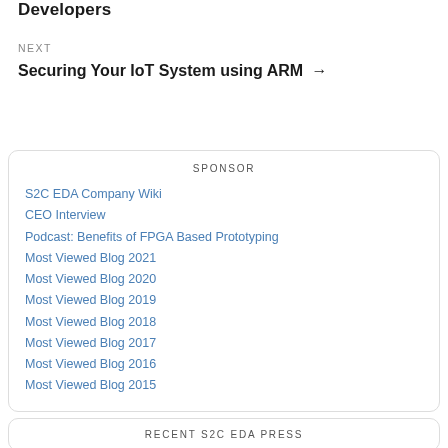Developers
NEXT
Securing Your IoT System using ARM →
SPONSOR
S2C EDA Company Wiki
CEO Interview
Podcast: Benefits of FPGA Based Prototyping
Most Viewed Blog 2021
Most Viewed Blog 2020
Most Viewed Blog 2019
Most Viewed Blog 2018
Most Viewed Blog 2017
Most Viewed Blog 2016
Most Viewed Blog 2015
RECENT S2C EDA PRESS